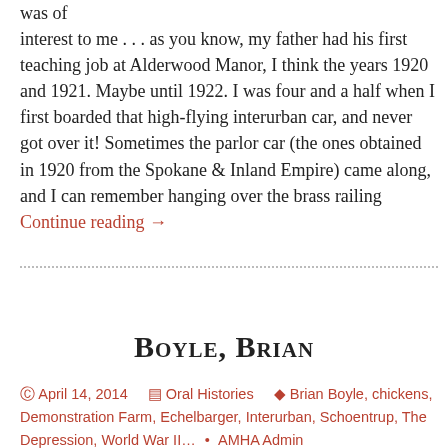was of interest to me . . . as you know, my father had his first teaching job at Alderwood Manor, I think the years 1920 and 1921.  Maybe until 1922.  I was four and a half when I first boarded that high-flying interurban car, and never got over it!  Sometimes the parlor car (the ones obtained in 1920 from the Spokane & Inland Empire) came along, and I can remember hanging over the brass railing Continue reading →
Boyle, Brian
© April 14, 2014   Oral Histories   Brian Boyle, chickens, Demonstration Farm, Echelbarger, Interurban, Schoentrup, The Depression, World War II… • AMHA Admin